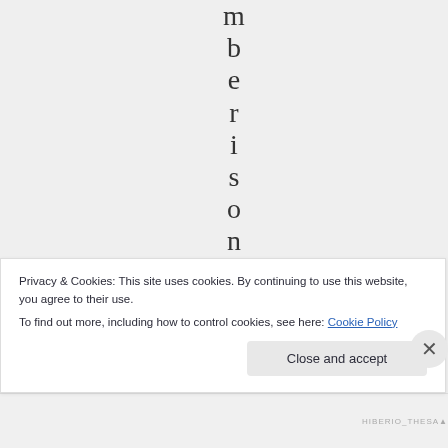[Figure (other): Vertically stacked individual letters spelling 'mberison of' displayed one character per line in a large serif font on a gray background, appearing to be part of a rotated or vertical text label from a web page.]
Privacy & Cookies: This site uses cookies. By continuing to use this website, you agree to their use.
To find out more, including how to control cookies, see here: Cookie Policy